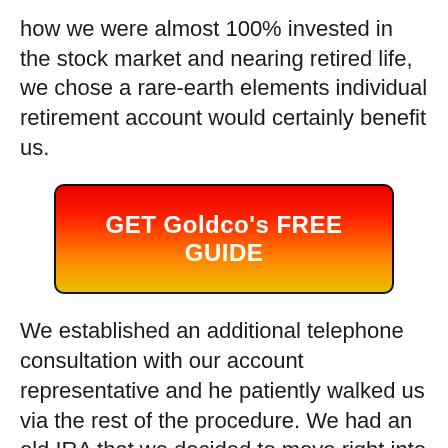how we were almost 100% invested in the stock market and nearing retired life, we chose a rare-earth elements individual retirement account would certainly benefit us.
[Figure (other): Red-to-yellow gradient call-to-action button with text 'GET Goldco's FREE GUIDE' in white bold font, black border and rounded corners]
We established an additional telephone consultation with our account representative and he patiently walked us via the rest of the procedure. We had an old IRA that we decided to move right into a gold individual retirement account. He cared for all the paperwork as well as called the broker agent